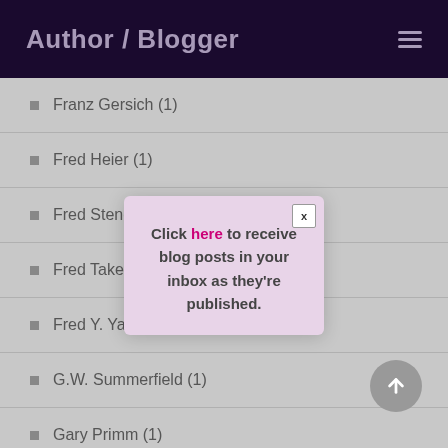Author / Blogger
Franz Gersich (1)
Fred Heier (1)
Fred Stengler (1)
Fred Taketo Aoy...
Fred Y. Yamagishi (3)
G.W. Summerfield (1)
Gary Primm (1)
[Figure (screenshot): Modal popup dialog with text: Click here to receive blog posts in your inbox as they're published. Contains a close button labeled X in the top right corner.]